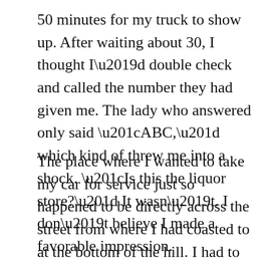50 minutes for my truck to show up. After waiting about 30, I thought I'd double check and called the number they had given me. The lady who answered only said “ABC,” which kind of threw me into a shock. “Is this the liquor store?” It wasn’t. I don’t believe I made a favorable impression.
The place where I wanted to take my car for service just so happened to be directly across the street from where I had coasted to at the bottom of the hill. I had to wait 50 minutes to be towed less than 100 yards. The irony was not lost on my tow guy, and we hit it off pretty well. I declined the offer of a ride to my mechanic, and instead challenged him to a race. Since it